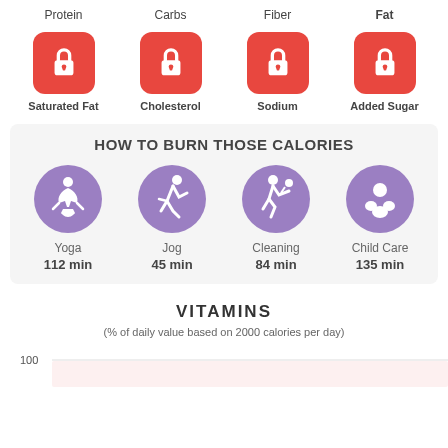Protein | Carbs | Fiber | Fat (locked nutrient icons)
Saturated Fat | Cholesterol | Sodium | Added Sugar (locked nutrient icons)
HOW TO BURN THOSE CALORIES
[Figure (infographic): Four activity icons in purple circles with calorie burn times: Yoga 112 min, Jog 45 min, Cleaning 84 min, Child Care 135 min]
VITAMINS
(% of daily value based on 2000 calories per day)
100